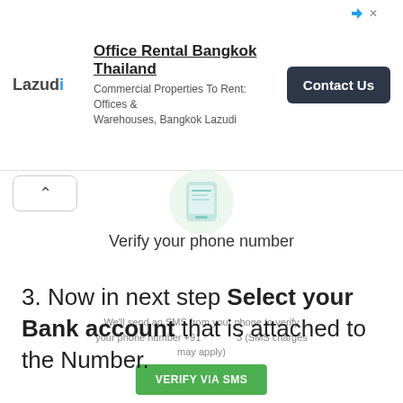[Figure (screenshot): Advertisement banner for Lazudi office rental Bangkok Thailand with Contact Us button]
[Figure (illustration): Phone/SMS icon in light green circle at top center of verify phone number card]
Verify your phone number
We'll send an SMS from your phone to verify your phone number +91 · 3 (SMS charges may apply)
VERIFY VIA SMS
3. Now in next step Select your Bank account that is attached to the Number.